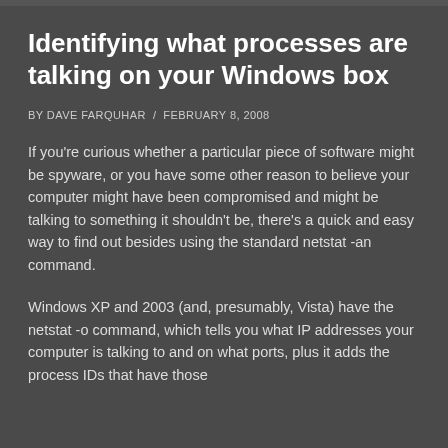Identifying what processes are talking on your Windows box
BY DAVE FARQUHAR / FEBRUARY 8, 2008
If you're curious whether a particular piece of software might be spyware, or you have some other reason to believe your computer might have been compromised and might be talking to something it shouldn't be, there's a quick and easy way to find out besides using the standard netstat -an command.
Windows XP and 2003 (and, presumably, Vista) have the netstat -o command, which tells you what IP addresses your computer is talking to and on what ports, plus it adds the process IDs that have those